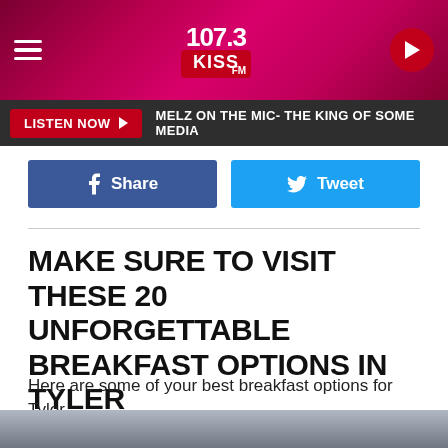107.3 KISS FM — hamburger menu, logo, play button
LISTEN NOW ▶  MELZ ON THE MIC- THE KING OF SOME MEDIA
Share  Tweet
MAKE SURE TO VISIT THESE 20 UNFORGETTABLE BREAKFAST OPTIONS IN TYLER
Here are some of your best breakfast options for Tyler.
Gallery Credit: Billy Jenkins